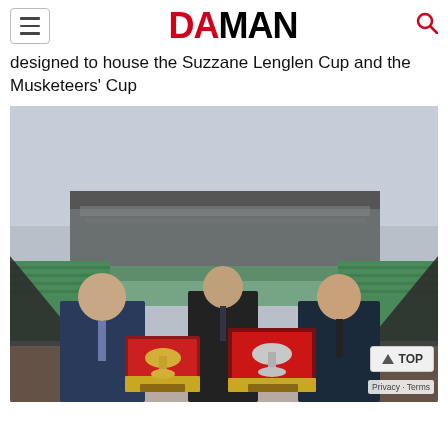DA MAN
designed to house the Suzzane Lenglen Cup and the Musketeers' Cup
[Figure (photo): Three men in suits standing in front of a tennis stadium (Roland Garros), with two Louis Vuitton trophy trunks open in front of them displaying the Suzanne Lenglen Cup and the Musketeers' Cup. Green stadium seats visible in the background.]